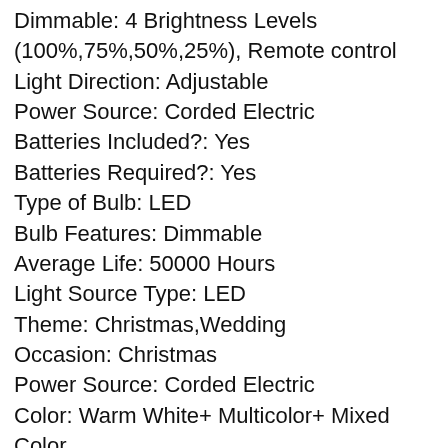Dimmable: 4 Brightness Levels (100%,75%,50%,25%), Remote control
Light Direction: Adjustable
Power Source: Corded Electric
Batteries Included?: Yes
Batteries Required?: Yes
Type of Bulb: LED
Bulb Features: Dimmable
Average Life: 50000 Hours
Light Source Type: LED
Theme: Christmas,Wedding
Occasion: Christmas
Power Source: Corded Electric
Color: Warm White+ Multicolor+ Mixed Color
Special Feature: 11 Modes: 4 Steady on + 7 Blinking Modes, 29V Low Voltage & UL CERTIFICATED,ensure & maximize safety, IP44 waterproof string lights for outdoor/indoor decor, such as Christmas tree, wedding, patio, garden,